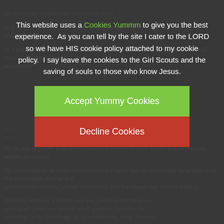Background biblical text (partially obscured by overlay): references to prophecy, tongues, edifying, revelation, knowledge, prophesying, doctrine. Includes slider/settings icon on left side.
This website uses a Cookies Yummm to give you the best experience. As you can tell by the site I cater to the LORD so we have HIS cookie policy attached to my cookie policy. I say leave the cookies to the Girl Scouts and the saving of souls to those who know Jesus.
Accept Yummy Cookies
Decline Cookies